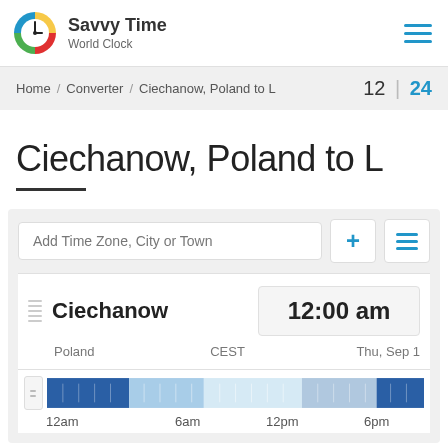Savvy Time World Clock
Home / Converter / Ciechanow, Poland to L   12 | 24
Ciechanow, Poland to L
Add Time Zone, City or Town
| City | Time | Country | TZ | Date |
| --- | --- | --- | --- | --- |
| Ciechanow | 12:00 am | Poland | CEST | Thu, Sep 1 |
[Figure (other): 24-hour timeline bar showing night, morning, day, evening, night segments for Ciechanow timezone, with labels 12am, 6am, 12pm, 6pm]